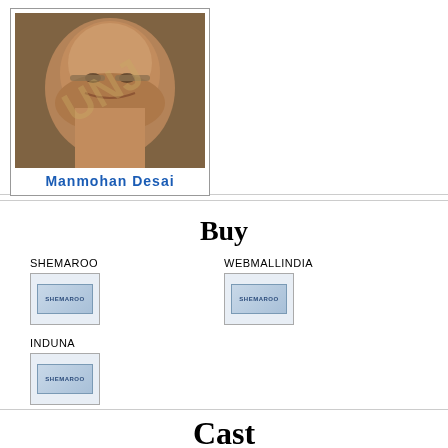[Figure (photo): Portrait photo of Manmohan Desai, a middle-aged man with glasses, smiling, with a watermark overlay]
Manmohan Desai
Buy
[Figure (logo): Shemaroo logo/product image - SHEMAROO label]
[Figure (logo): Shemaroo logo/product image - WEBMALLINDIA label]
[Figure (logo): Shemaroo logo/product image - INDUNA label]
Cast